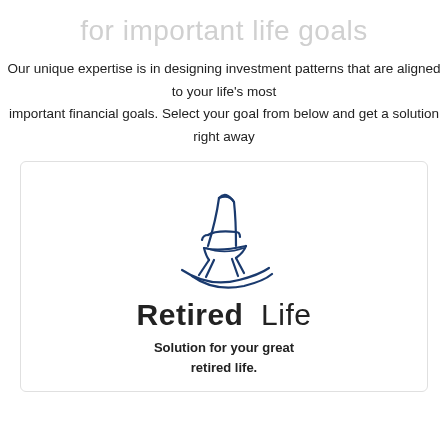for important life goals
Our unique expertise is in designing investment patterns that are aligned to your life's most important financial goals. Select your goal from below and get a solution right away
[Figure (illustration): Line drawing icon of a rocking chair in dark blue outline style]
Retired Life
Solution for your great retired life.